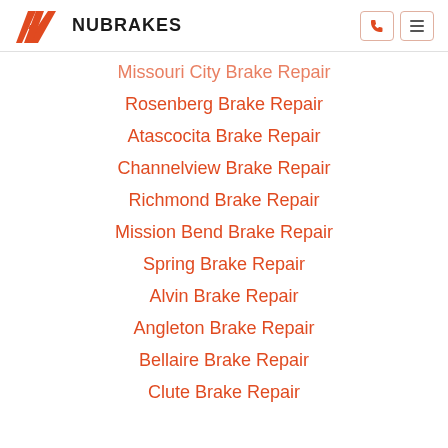NUBRAKES
Missouri City Brake Repair
Rosenberg Brake Repair
Atascocita Brake Repair
Channelview Brake Repair
Richmond Brake Repair
Mission Bend Brake Repair
Spring Brake Repair
Alvin Brake Repair
Angleton Brake Repair
Bellaire Brake Repair
Clute Brake Repair